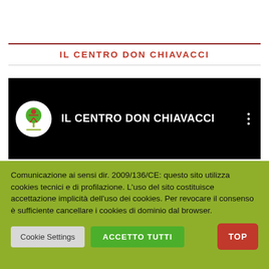IL CENTRO DON CHIAVACCI
[Figure (screenshot): YouTube channel card with black background, circular logo with tree illustration, channel name 'IL CENTRO DON CHIAVACCI' in white text, three-dot menu icon on the right]
Comunicazione ai sensi dir. 2009/136/CE: questo sito utilizza cookies tecnici e di profilazione. L'uso del sito costituisce accettazione implicità dell'uso dei cookies. Per revocare il consenso è sufficiente cancellare i cookies di dominio dal browser.
Cookie Settings
ACCETTO TUTTI
TOP